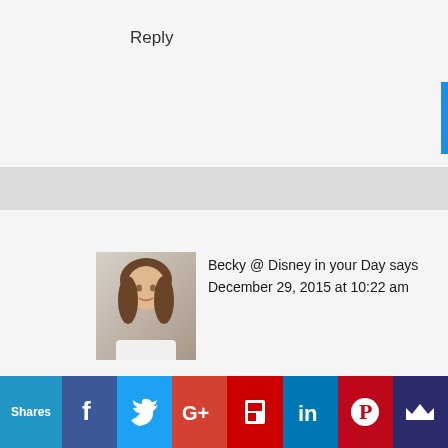Reply
Becky @ Disney in your Day says
December 29, 2015 at 10:22 am
Aww I love the gingerbread train! My brother
We use cookies on our website to give you the most relevant experience by remembering your preferences and repeat visits. By clicking “Accept All”, you consent to the use of ALL the cookies. However, you may visit "Cookie Settings" to provide a controlled consent.
Shares